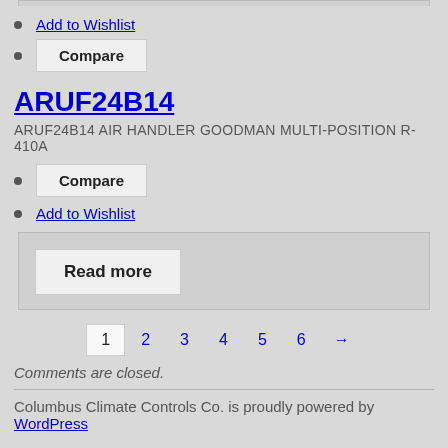Add to Wishlist
Compare
ARUF24B14
ARUF24B14 AIR HANDLER GOODMAN MULTI-POSITION R-410A
Compare
Add to Wishlist
Read more
1 2 3 4 5 6 →
Comments are closed.
Columbus Climate Controls Co. is proudly powered by WordPress